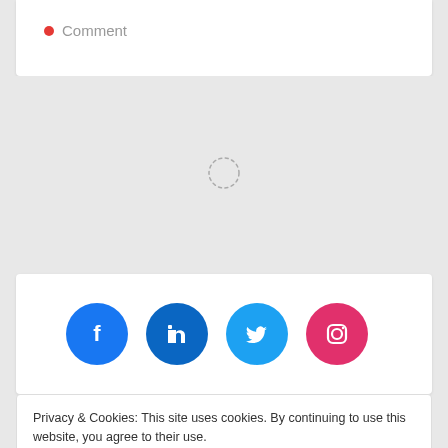Comment
[Figure (other): Loading spinner (circular dashed indicator)]
[Figure (other): Social media icons: Facebook, LinkedIn, Twitter, Instagram]
Privacy & Cookies: This site uses cookies. By continuing to use this website, you agree to their use.
To find out more, including how to control cookies, see here: Cookie Policy
Close and accept